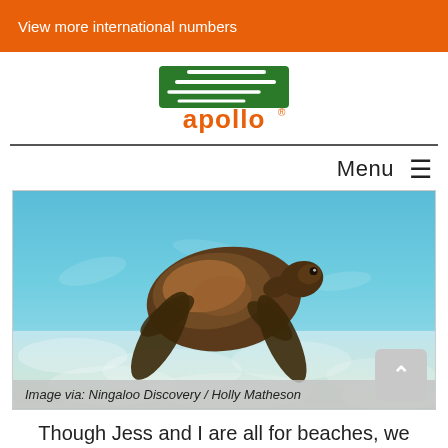View more international numbers
[Figure (logo): Apollo campervan rental logo — green rectangular badge with white diagonal stripes and orange 'apollo' text below]
Menu ☰
[Figure (photo): Underwater photo of a sea turtle swimming over a shallow sandy seafloor with clear blue water. Caption: Image via: Ningaloo Discovery / Holly Matheson]
Image via: Ningaloo Discovery / Holly Matheson
Though Jess and I are all for beaches, we